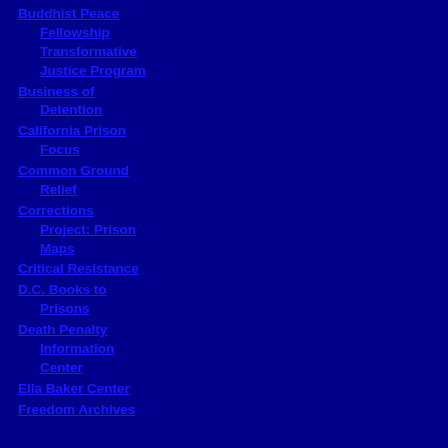Buddhist Peace Fellowship Transformative Justice Program
Business of Detention
California Prison Focus
Common Ground Relief
Corrections Project: Prison Maps
Critical Resistance
D.C. Books to Prisons
Death Penalty Information Center
Ella Baker Center
Freedom Archives